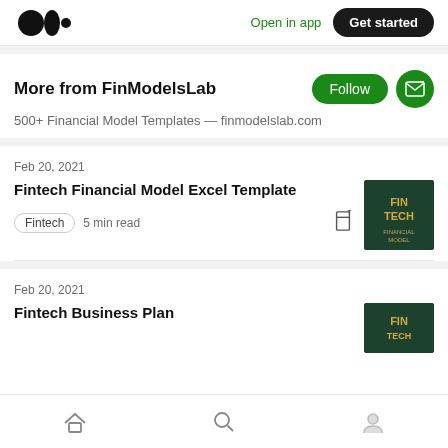Medium logo | Open in app | Get started
More from FinModelsLab
500+ Financial Model Templates — finmodelslab.com
Feb 20, 2021
Fintech Financial Model Excel Template
Fintech  5 min read
[Figure (photo): Fintech Financial Model thumbnail — dark green background with FIN TECH text in gold]
Feb 20, 2021
Fintech Business Plan
[Figure (photo): Fintech Business Plan thumbnail — dark green background with FIN text visible]
Home | Search | Profile navigation icons